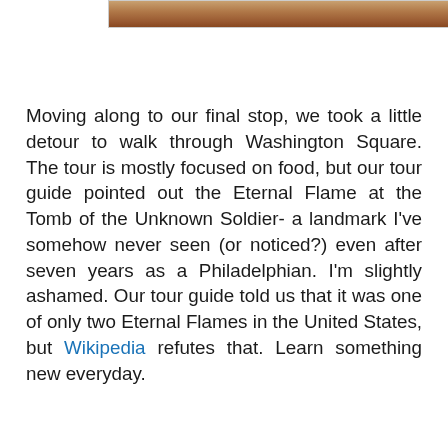[Figure (photo): Top partial image showing what appears to be a food or decorative item with warm brown tones]
Moving along to our final stop, we took a little detour to walk through Washington Square. The tour is mostly focused on food, but our tour guide pointed out the Eternal Flame at the Tomb of the Unknown Soldier- a landmark I've somehow never seen (or noticed?) even after seven years as a Philadelphian. I'm slightly ashamed. Our tour guide told us that it was one of only two Eternal Flames in the United States, but Wikipedia refutes that. Learn something new everyday.
[Figure (photo): Photo of the Tomb of the Unknown Soldier at Washington Square, Philadelphia, showing a stone monument with inscriptions, a bronze statue, and an eternal flame in a small structure at the base]